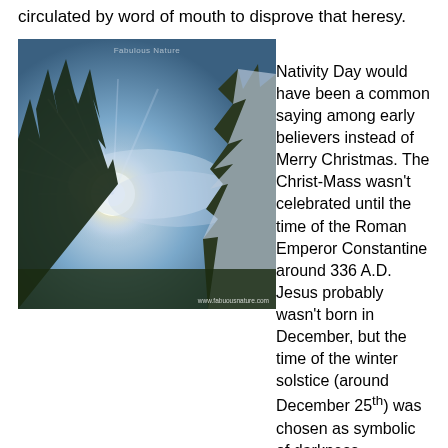circulated by word of mouth to disprove that heresy.
[Figure (photo): Winter landscape photo showing snow-covered evergreen trees with sunlight rays breaking through, misty blue sky background. Watermark: Fabulous Nature. URL: www.fabuousnature.com]
Happy Nativity Day would have been a common saying among early believers instead of Merry Christmas. The Christ-Mass wasn't celebrated until the time of the Roman Emperor Constantine around 336 A.D. Jesus probably wasn't born in December, but the time of the winter solstice (around December 25th) was chosen as symbolic of darkness becoming light. That time of the year was also the time of the Jewish Festival of Lights. And, yes, the pagans celebrated the birth of the sun god during this time of the year. During his earthly ministry, Jesus declared himself